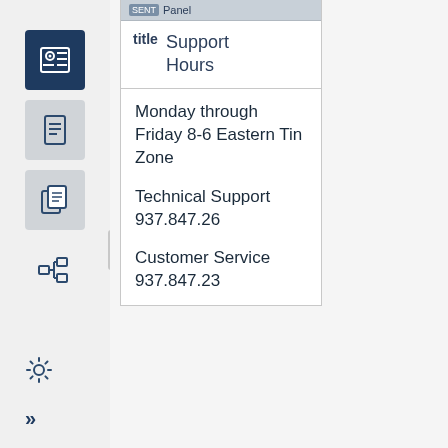[Figure (screenshot): Left navigation sidebar with icons: active settings/gear icon (dark blue background), document icon, copy icon, hierarchy icon, settings gear icon at bottom, and double-arrow icon at bottom]
Panel
Support Hours
Monday through Friday 8-6 Eastern Tin Zone
Technical Support 937.847.26
Customer Service 937.847.23